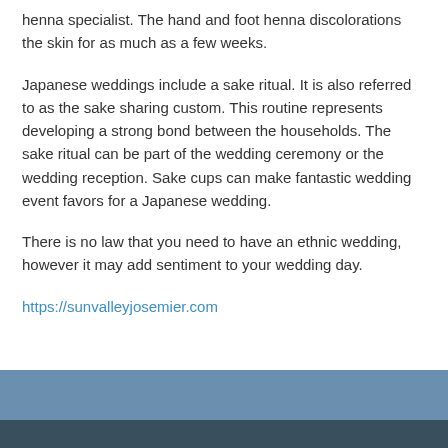henna specialist. The hand and foot henna discolorations the skin for as much as a few weeks.
Japanese weddings include a sake ritual. It is also referred to as the sake sharing custom. This routine represents developing a strong bond between the households. The sake ritual can be part of the wedding ceremony or the wedding reception. Sake cups can make fantastic wedding event favors for a Japanese wedding.
There is no law that you need to have an ethnic wedding, however it may add sentiment to your wedding day.
https://sunvalleyjosemier.com